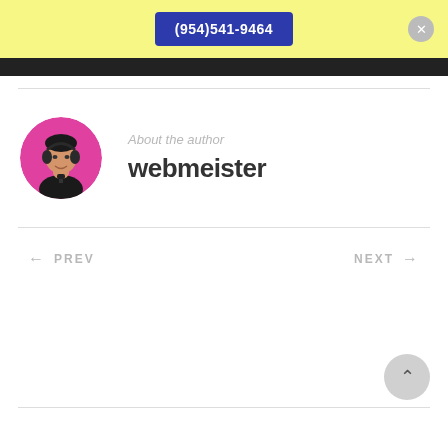(954)541-9464
[Figure (photo): Circular avatar of a young man wearing headphones and a black shirt, on a pink/magenta background circle.]
About the author
webmeister
← PREV
NEXT →